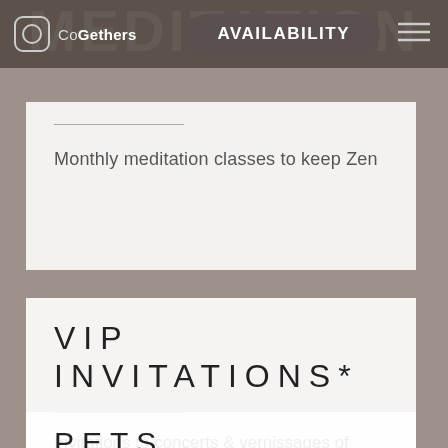CoGethers — AVAILABILITY
MEDITATION
Monthly meditation classes to keep Zen
VIP INVITATIONS*
Invitations to concerts & vernissages of artistic exhibitions
PETS